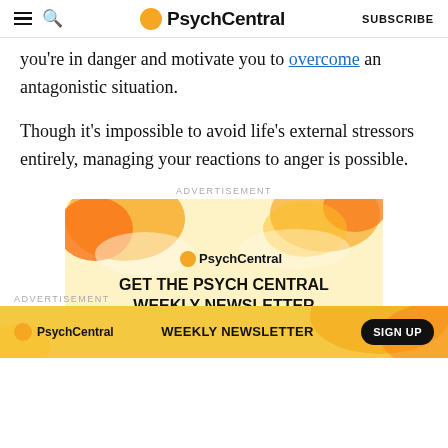PsychCentral  SUBSCRIBE
you're in danger and motivate you to overcome an antagonistic situation.
Though it's impossible to avoid life's external stressors entirely, managing your reactions to anger is possible.
[Figure (infographic): PsychCentral advertisement banner with yellow/orange wavy background. Shows PsychCentral logo and text: GET THE PSYCH CENTRAL WEEKLY NEWSLETTER with a SIGN UP button.]
[Figure (infographic): PsychCentral bottom advertisement bar with orange/yellow gradient background. Shows PsychCentral logo, WEEKLY NEWSLETTER text, and SIGN UP button.]